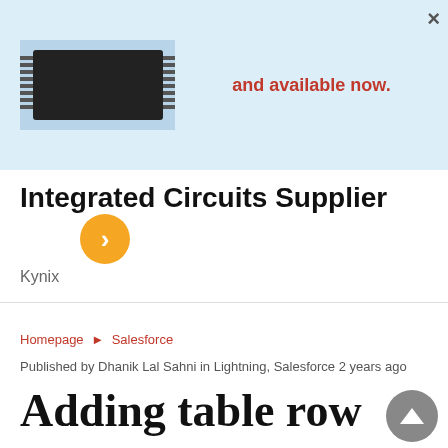[Figure (screenshot): Advertisement banner with a chip image on the left and red bold text reading 'and available now.' on a light blue background, with a close (×) button in the top right corner.]
Integrated Circuits Supplier
Kynix
Homepage ▶ Salesforce
Published by Dhanik Lal Sahni in Lightning, Salesforce 2 years ago
Adding table row